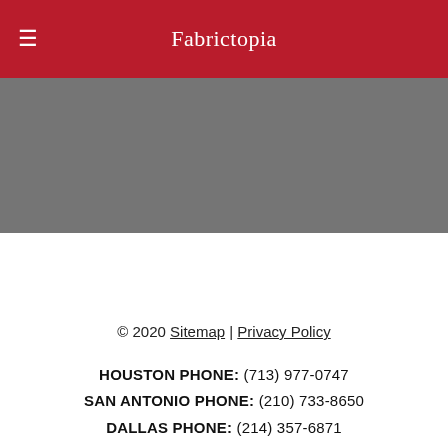Fabrictopia
[Figure (other): Gray banner/placeholder image area]
© 2020 Sitemap | Privacy Policy
HOUSTON PHONE: (713) 977-0747
SAN ANTONIO PHONE: (210) 733-8650
DALLAS PHONE: (214) 357-6871